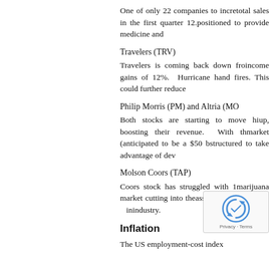One of only 22 companies to incre... total sales in the first quarter 12. positioned to provide medicine and
Travelers (TRV)
Travelers is coming back down fro... income gains of 12%. Hurricane h... and fires. This could further reduce
Philip Morris (PM) and Altria (MO
Both stocks are starting to move hi... up, boosting their revenue. With th... market (anticipated to be a $50 b... structured to take advantage of dev
Molson Coors (TAP)
Coors stock has struggled with 1... marijuana market cutting into the... assembled a team in... industry.
Inflation
The US employment-cost index...